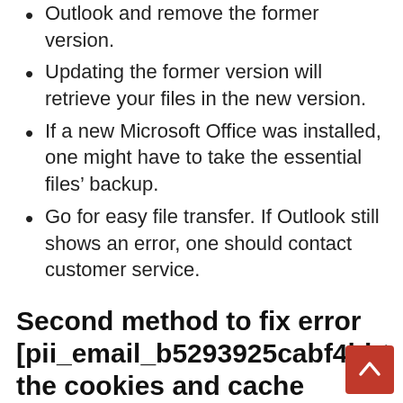Outlook and remove the former version.
Updating the former version will retrieve your files in the new version.
If a new Microsoft Office was installed, one might have to take the essential files’ backup.
Go for easy file transfer. If Outlook still shows an error, one should contact customer service.
Second method to fix error [pii_email_b5293925cabf4bb07f9 the cookies and cache
Not clearing the cookies and cache is another common thing to the users experiencing the error.
One should go to the File and option and go for clearing the Outlook cookies and cache.
Once done, one should log out of the Microsoft